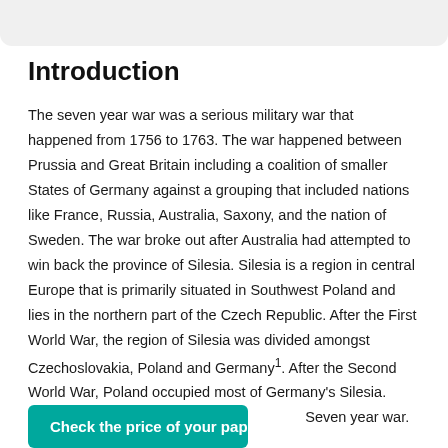Introduction
The seven year war was a serious military war that happened from 1756 to 1763. The war happened between Prussia and Great Britain including a coalition of smaller States of Germany against a grouping that included nations like France, Russia, Australia, Saxony, and the nation of Sweden. The war broke out after Australia had attempted to win back the province of Silesia. Silesia is a region in central Europe that is primarily situated in Southwest Poland and lies in the northern part of the Czech Republic. After the First World War, the region of Silesia was divided amongst Czechoslovakia, Poland and Germany¹. After the Second World War, Poland occupied most of Germany's Silesia. Silesia is a very rich region [continues] Seven year war. The [continues] war in history and it
Check the price of your paper →